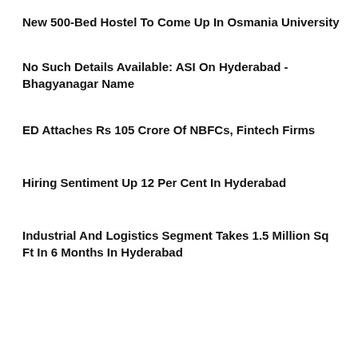New 500-Bed Hostel To Come Up In Osmania University
No Such Details Available: ASI On Hyderabad - Bhagyanagar Name
ED Attaches Rs 105 Crore Of NBFCs, Fintech Firms
Hiring Sentiment Up 12 Per Cent In Hyderabad
Industrial And Logistics Segment Takes 1.5 Million Sq Ft In 6 Months In Hyderabad